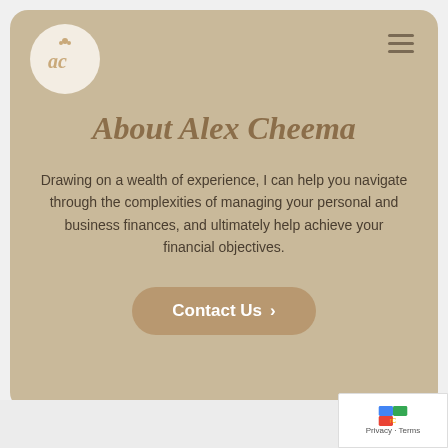[Figure (logo): Circular logo with 'ac' monogram in gold italic serif on cream/off-white background]
About Alex Cheema
Drawing on a wealth of experience, I can help you navigate through the complexities of managing your personal and business finances, and ultimately help achieve your financial objectives.
Contact Us >
Privacy · Terms